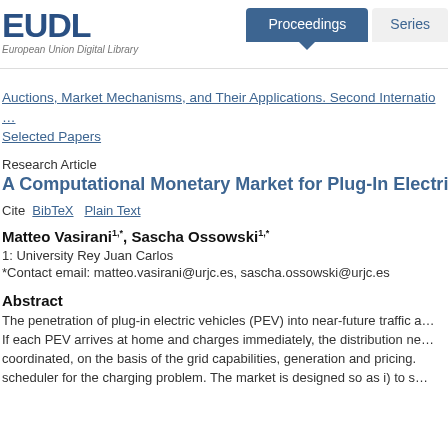EUDL European Union Digital Library | Proceedings | Series
Auctions, Market Mechanisms, and Their Applications. Second International Conference on Auctions, Market Mechanisms and Their Applications. Selected Papers
Research Article
A Computational Monetary Market for Plug-In Electric Vehicle Charging
Cite  BibTeX  Plain Text
Matteo Vasirani1,*, Sascha Ossowski1,*
1: University Rey Juan Carlos
*Contact email: matteo.vasirani@urjc.es, sascha.ossowski@urjc.es
Abstract
The penetration of plug-in electric vehicles (PEV) into near-future traffic and energy networks is expected to generate unprecedented electricity demand peaks. If each PEV arrives at home and charges immediately, the distribution network will be severely stressed. Therefore, charging should be coordinated, on the basis of the grid capabilities, generation and pricing. We propose a market-based scheduler for the charging problem. The market is designed so as i) to satisfy the energy requirements of each PEV within its deadline, and ii) to minimize the impact on the distribution network.